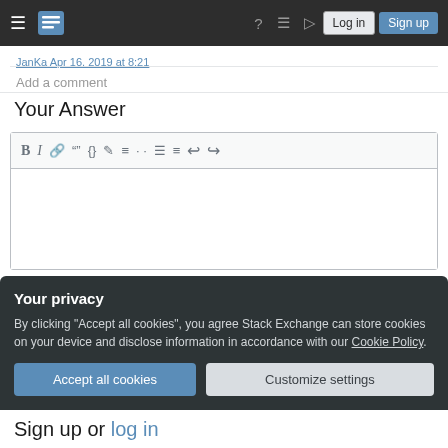Stack Exchange navigation bar with Log in and Sign up buttons
JanKa Apr 16, 2019 at 8:21
Add a comment
Your Answer
[Figure (screenshot): Rich text editor toolbar with bold, italic, link, blockquote, code, image, ordered list, unordered list, align left, align justify, undo, redo icons, followed by an empty text area.]
Your privacy
By clicking "Accept all cookies", you agree Stack Exchange can store cookies on your device and disclose information in accordance with our Cookie Policy.
Accept all cookies
Customize settings
Sign up or log in